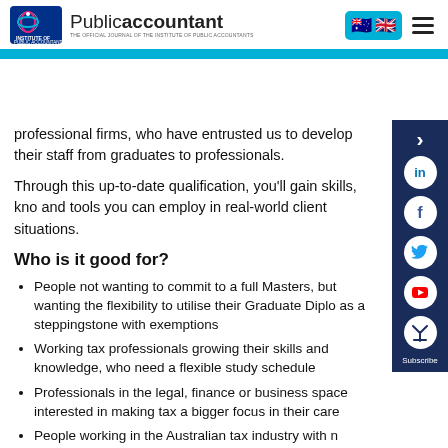Public accountant
professional firms, who have entrusted us to develop their staff from graduates to professionals.
Through this up-to-date qualification, you'll gain skills, knowledge and tools you can employ in real-world client situations.
Who is it good for?
People not wanting to commit to a full Masters, but wanting the flexibility to utilise their Graduate Diploma as a steppingstone with exemptions
Working tax professionals growing their skills and knowledge, who need a flexible study schedule
Professionals in the legal, finance or business space interested in making tax a bigger focus in their career
People working in the Australian tax industry with non-student visa status or who have trained in tax in another country but are now working in Australia and wanting to update their tax knowledge formally
Graduates just getting started in their career